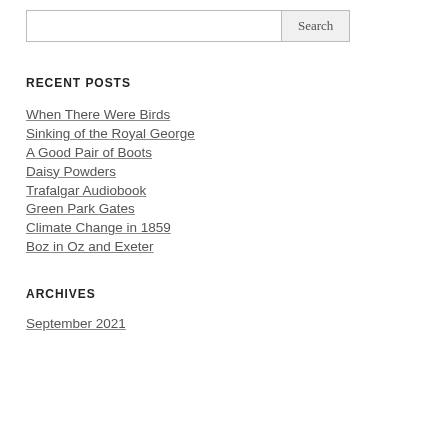Search
RECENT POSTS
When There Were Birds
Sinking of the Royal George
A Good Pair of Boots
Daisy Powders
Trafalgar Audiobook
Green Park Gates
Climate Change in 1859
Boz in Oz and Exeter
ARCHIVES
September 2021